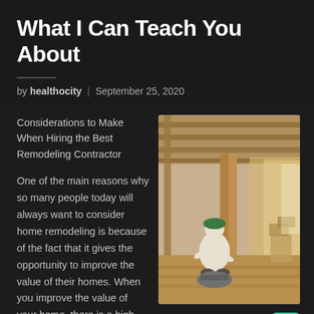What I Can Teach You About
by healthocity | September 25, 2020
Considerations to Make When Hiring the Best Remodeling Contractor
One of the main reasons why so many people today will always want to consider home remodeling is because of the fact that it gives the opportunity to improve the value of their homes. When you improve the value of your home, there is a high probability that
[Figure (photo): A construction worker kneeling on the floor inside a building under renovation, with exposed wooden ceiling beams and framing visible. Light enters from windows on the right side.]